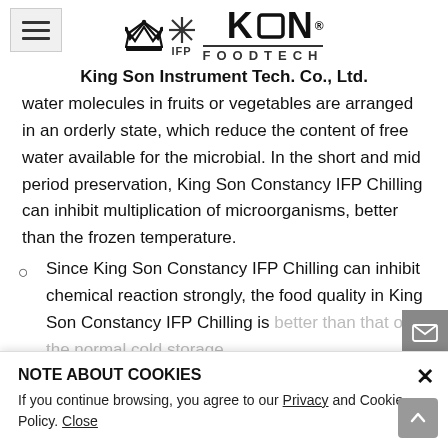King Son Instrument Tech. Co., Ltd.
water molecules in fruits or vegetables are arranged in an orderly state, which reduce the content of free water available for the microbial. In the short and mid period preservation, King Son Constancy IFP Chilling can inhibit multiplication of microorganisms, better than the frozen temperature.
Since King Son Constancy IFP Chilling can inhibit chemical reaction strongly, the food quality in King Son Constancy IFP Chilling is better than that of the normal cold storage. King Son Constancy IFP Chilling also can ... King Son Constancy IFP Chilling preservation is to...
NOTE ABOUT COOKIES
If you continue browsing, you agree to our Privacy and Cookie Policy. Close